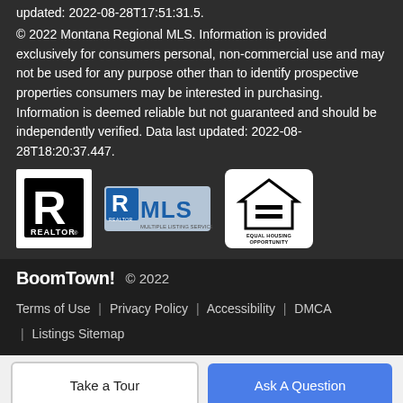updated: 2022-08-28T17:51:31.5.
© 2022 Montana Regional MLS. Information is provided exclusively for consumers personal, non-commercial use and may not be used for any purpose other than to identify prospective properties consumers may be interested in purchasing. Information is deemed reliable but not guaranteed and should be independently verified. Data last updated: 2022-08-28T18:20:37.447.
[Figure (logo): REALTOR logo (black R in box with REALTOR text below)]
[Figure (logo): MLS logo with REALTOR and MLS text on blue background]
[Figure (logo): Equal Housing Opportunity logo (house with equals sign)]
BoomTown! © 2022
Terms of Use | Privacy Policy | Accessibility | DMCA | Listings Sitemap
Take a Tour
Ask A Question